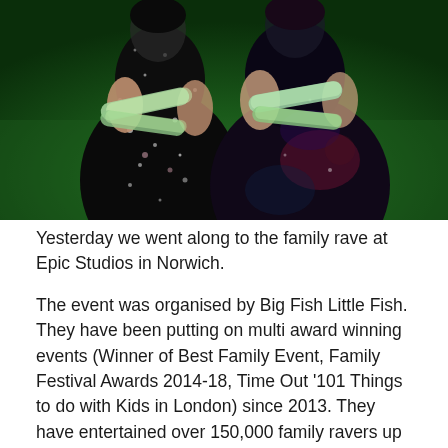[Figure (photo): Two children standing side by side outdoors on grass, both with arms crossed, wearing dark speckled/galaxy print dresses. Both have glittery green body paint on their arms. Photo is cropped to show from mid-torso up.]
Yesterday we went along to the family rave at Epic Studios in Norwich.
The event was organised by Big Fish Little Fish. They have been putting on multi award winning events (Winner of Best Family Event, Family Festival Awards 2014-18, Time Out '101 Things to do with Kids in London) since 2013. They have entertained over 150,000 family ravers up and